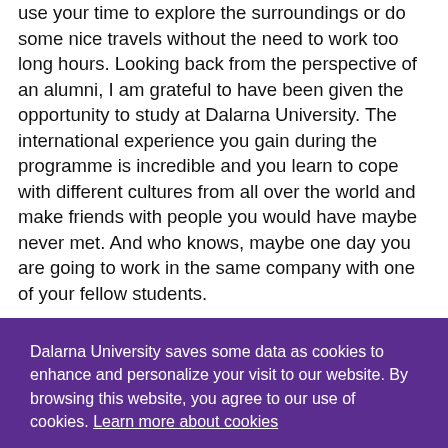use your time to explore the surroundings or do some nice travels without the need to work too long hours. Looking back from the perspective of an alumni, I am grateful to have been given the opportunity to study at Dalarna University. The international experience you gain during the programme is incredible and you learn to cope with different cultures from all over the world and make friends with people you would have maybe never met. And who knows, maybe one day you are going to work in the same company with one of your fellow students.
Dalarna University saves some data as cookies to enhance and personalize your visit to our website. By browsing this website, you agree to our use of cookies. Learn more about cookies
I understand
Last reviewed 3 December 2021